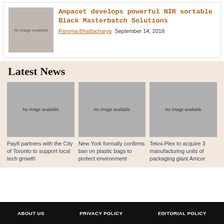[Figure (photo): No image available placeholder thumbnail]
Ampacet develops powerful NIR sortable Black Masterbatch Solutions
Paroma Bhattacharya  September 14, 2018
Latest News
[Figure (photo): No image available placeholder]
PayIt partners with the City of Toronto to support local tech growth
[Figure (photo): No image available placeholder]
New York formally confirms ban on plastic bags to protect environment
[Figure (photo): No image available placeholder]
Tekni-Plex to acquire 3 manufacturing units of packaging giant Amcor
ABOUT US   PRIVACY POLICY   EDITORIAL POLICY